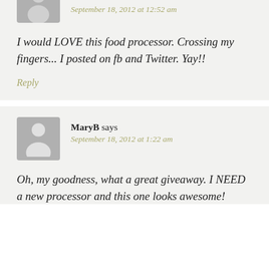September 18, 2012 at 12:52 am
I would LOVE this food processor. Crossing my fingers... I posted on fb and Twitter. Yay!!
Reply
MaryB says
September 18, 2012 at 1:22 am
Oh, my goodness, what a great giveaway. I NEED a new processor and this one looks awesome!